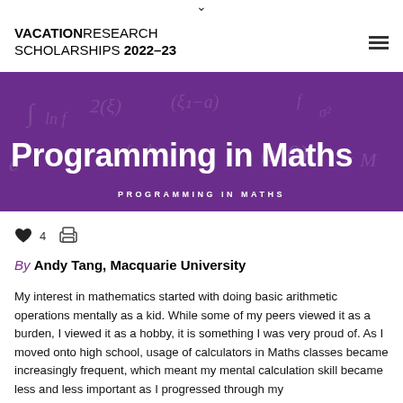VACATION RESEARCH SCHOLARSHIPS 2022–23
[Figure (photo): Purple hero banner with mathematical equations in background and large white text reading 'Programming in Maths' with subtitle 'PROGRAMMING IN MATHS']
Programming in Maths
PROGRAMMING IN MATHS
♥ 4
By Andy Tang, Macquarie University
My interest in mathematics started with doing basic arithmetic operations mentally as a kid. While some of my peers viewed it as a burden, I viewed it as a hobby, it is something I was very proud of. As I moved onto high school, usage of calculators in Maths classes became increasingly frequent, which meant my mental calculation skill became less and less important as I progressed through my